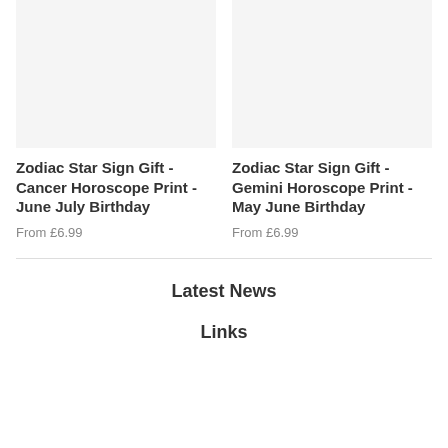[Figure (photo): Product image placeholder for Cancer Horoscope Print]
[Figure (photo): Product image placeholder for Gemini Horoscope Print]
Zodiac Star Sign Gift - Cancer Horoscope Print - June July Birthday
From £6.99
Zodiac Star Sign Gift - Gemini Horoscope Print - May June Birthday
From £6.99
Latest News
Links